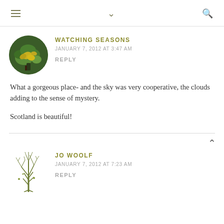≡  ∨  🔍
WATCHING SEASONS
JANUARY 7, 2012 AT 3:47 AM
REPLY
What a gorgeous place- and the sky was very cooperative, the clouds adding to the sense of mystery.

Scotland is beautiful!
[Figure (photo): Circular avatar photo showing yellow and green leaves/foliage]
JO WOOLF
JANUARY 7, 2012 AT 7:23 AM
REPLY
[Figure (illustration): Illustrated tree/plant with bare branches, used as avatar]